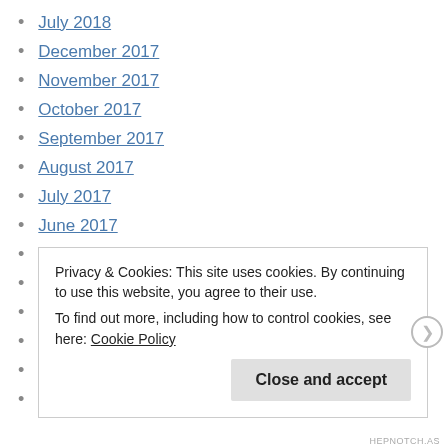July 2018
December 2017
November 2017
October 2017
September 2017
August 2017
July 2017
June 2017
May 2017
April 2017
March 2017
February 2017
Privacy & Cookies: This site uses cookies. By continuing to use this website, you agree to their use. To find out more, including how to control cookies, see here: Cookie Policy
HEPNOTCH.AS